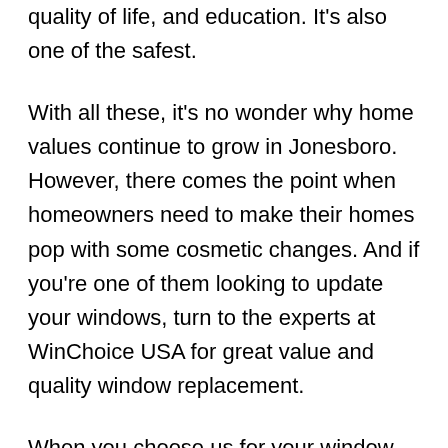quality of life, and education. It's also one of the safest.
With all these, it's no wonder why home values continue to grow in Jonesboro. However, there comes the point when homeowners need to make their homes pop with some cosmetic changes. And if you're one of them looking to update your windows, turn to the experts at WinChoice USA for great value and quality window replacement.
When you choose us for your window replacement in Jonesboro, you're not just paying for a new window; you're getting over 40 years of experience. We're named as top-rated